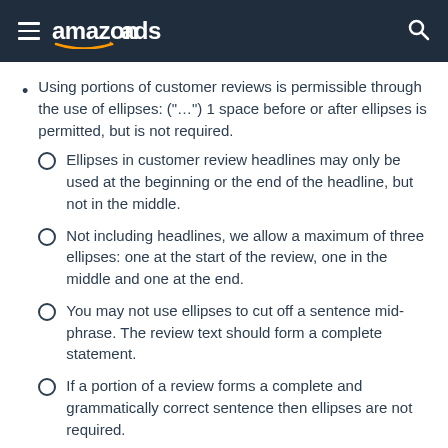amazon ads
Using portions of customer reviews is permissible through the use of ellipses: (“…”) 1 space before or after ellipses is permitted, but is not required.
Ellipses in customer review headlines may only be used at the beginning or the end of the headline, but not in the middle.
Not including headlines, we allow a maximum of three ellipses: one at the start of the review, one in the middle and one at the end.
You may not use ellipses to cut off a sentence mid-phrase. The review text should form a complete statement.
If a portion of a review forms a complete and grammatically correct sentence then ellipses are not required.